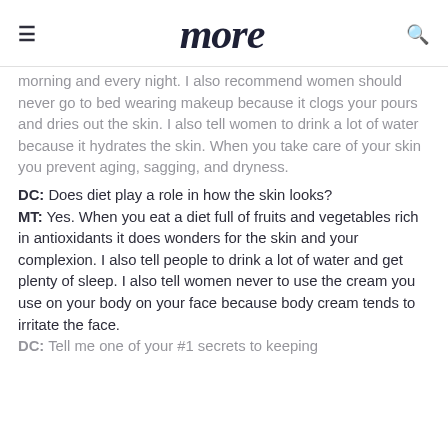more
morning and every night. I also recommend women should never go to bed wearing makeup because it clogs your pours and dries out the skin. I also tell women to drink a lot of water because it hydrates the skin. When you take care of your skin you prevent aging, sagging, and dryness.
DC: Does diet play a role in how the skin looks?
MT: Yes. When you eat a diet full of fruits and vegetables rich in antioxidants it does wonders for the skin and your complexion. I also tell people to drink a lot of water and get plenty of sleep. I also tell women never to use the cream you use on your body on your face because body cream tends to irritate the face.
DC: Tell me one of your #1 secrets to keeping